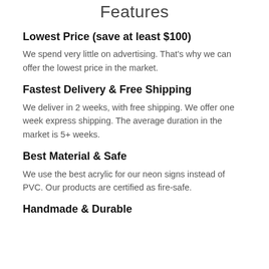Features
Lowest Price (save at least $100)
We spend very little on advertising. That's why we can offer the lowest price in the market.
Fastest Delivery & Free Shipping
We deliver in 2 weeks, with free shipping. We offer one week express shipping. The average duration in the market is 5+ weeks.
Best Material & Safe
We use the best acrylic for our neon signs instead of PVC. Our products are certified as fire-safe.
Handmade & Durable